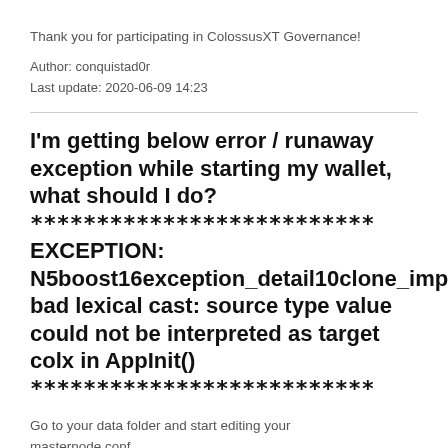Thank you for participating in ColossusXT Governance!
Author: conquistad0r
Last update: 2020-06-09 14:23
I'm getting below error / runaway exception while starting my wallet, what should I do? ************************** EXCEPTION: N5boost16exception_detail10clone_imp bad lexical cast: source type value could not be interpreted as target colx in AppInit() **************************
Go to your data folder and start editing your masternode.conf